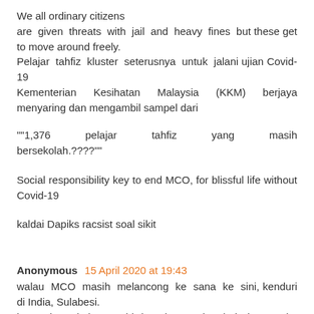We all ordinary citizens are given threats with jail and heavy fines but these get to move around freely. Pelajar tahfiz kluster seterusnya untuk jalani ujian Covid-19 Kementerian Kesihatan Malaysia (KKM) berjaya menyaring dan mengambil sampel dari
""1,376 pelajar tahfiz yang masih bersekolah.????""
Social responsibility key to end MCO, for blissful life without Covid-19
kaldai Dapiks racsist soal sikit
Anonymous 15 April 2020 at 19:43
walau MCO masih melancong ke sana ke sini, kenduri di India, Sulabesi. ketua kata kalau covid bunoh pun kenduri. ketua ada rumah ladang besar bersama swimming